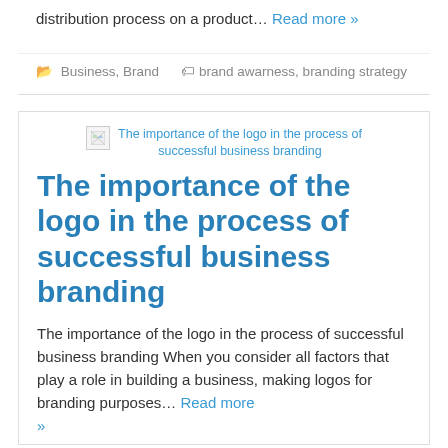distribution process on a product… Read more »
Business, Brand   brand awarness, branding strategy
[Figure (screenshot): Broken image thumbnail with alt text: The importance of the logo in the process of successful business branding]
The importance of the logo in the process of successful business branding
The importance of the logo in the process of successful business branding When you consider all factors that play a role in building a business, making logos for branding purposes… Read more »